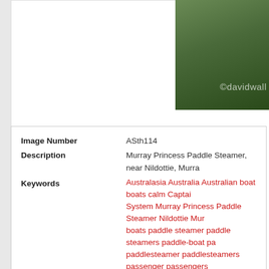[Figure (photo): Partial photo of Murray Princess Paddle Steamer with davidwall watermark overlay on green background]
| Image Number | ASth114 |
| Description | Murray Princess Paddle Steamer, near Nildottie, Murra... |
| Keywords | Australasia Australia Australian boat boats calm Captai... System Murray Princess Paddle Steamer Nildottie Mur... boats paddle steamer paddle steamers paddle-boat pa... paddlesteamer paddlesteamers passenger passengers... boats Riverboat riverboats rivers S.A. SA serene smoo... steamboat steamboats steamer steamers still tourism t... |
| Copyright: | davidwallphoto.com |
| License Type: | Rights Managed |
| Release Status: | No Release |